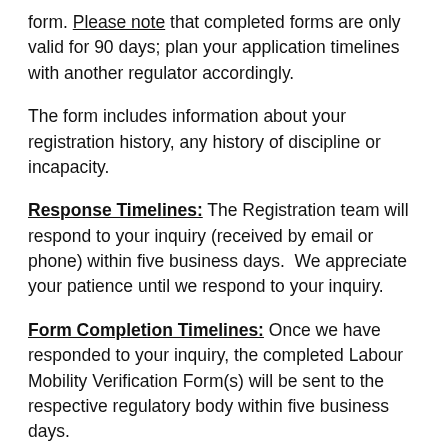form. Please note that completed forms are only valid for 90 days; plan your application timelines with another regulator accordingly.
The form includes information about your registration history, any history of discipline or incapacity.
Response Timelines: The Registration team will respond to your inquiry (received by email or phone) within five business days.  We appreciate your patience until we respond to your inquiry.
Form Completion Timelines: Once we have responded to your inquiry, the completed Labour Mobility Verification Form(s) will be sent to the respective regulatory body within five business days.
For further information about registration requirements in another jurisdiction, please contact the appropriate regulatory body.